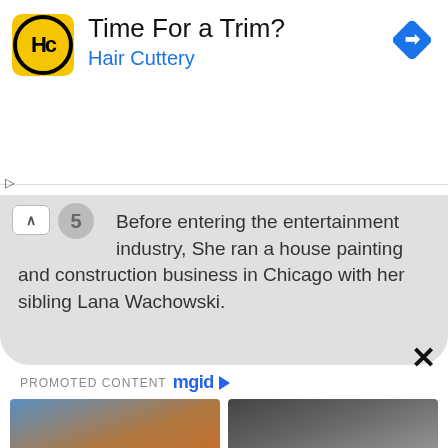[Figure (other): Hair Cuttery advertisement banner with logo (yellow circle with HC), text 'Time For a Trim?' and 'Hair Cuttery', and a blue navigation diamond icon in the top right.]
Before entering the entertainment industry, She ran a house painting and construction business in Chicago with her sibling Lana Wachowski.
PROMOTED CONTENT mgid
[Figure (photo): Photo of a man with beard (Adam Sandler) looking downward, wearing a striped shirt.]
[Figure (photo): Photo of Gaspard Ulliel at a public event with cameras and crowd in background.]
A Few Years Ago, Sandler's Career Was Falling Apart
Gaspard Ulliel Died At The Age Of 37 Following A Skiing Accident